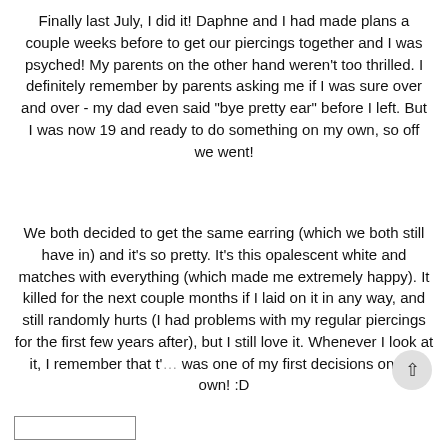Finally last July, I did it! Daphne and I had made plans a couple weeks before to get our piercings together and I was psyched! My parents on the other hand weren't too thrilled. I definitely remember by parents asking me if I was sure over and over - my dad even said "bye pretty ear" before I left. But I was now 19 and ready to do something on my own, so off we went!
We both decided to get the same earring (which we both still have in) and it's so pretty. It's this opalescent white and matches with everything (which made me extremely happy). It killed for the next couple months if I laid on it in any way, and still randomly hurts (I had problems with my regular piercings for the first few years after), but I still love it. Whenever I look at it, I remember that t' was one of my first decisions on my own! :D